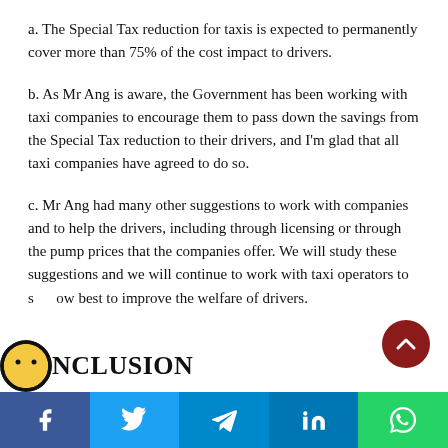a. The Special Tax reduction for taxis is expected to permanently cover more than 75% of the cost impact to drivers.
b. As Mr Ang is aware, the Government has been working with taxi companies to encourage them to pass down the savings from the Special Tax reduction to their drivers, and I'm glad that all taxi companies have agreed to do so.
c. Mr Ang had many other suggestions to work with companies and to help the drivers, including through licensing or through the pump prices that the companies offer. We will study these suggestions and we will continue to work with taxi operators to show best to improve the welfare of drivers.
CONCLUSION